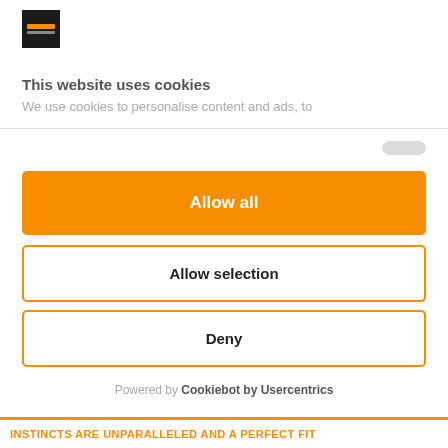[Figure (logo): Small square logo with dark background and orange/yellow horizontal bars]
This website uses cookies
We use cookies to personalise content and ads, to
Allow all
Allow selection
Deny
Powered by Cookiebot by Usercentrics
INSTINCTS ARE UNPARALLELED AND A PERFECT FIT